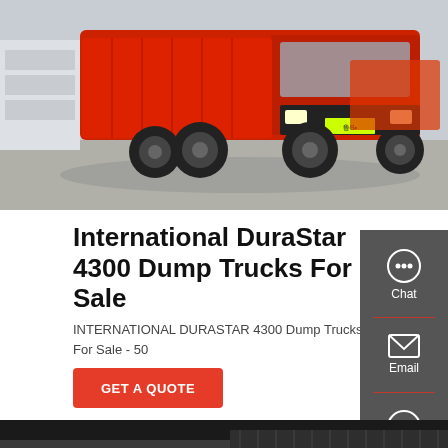[Figure (photo): Red dump truck (International DuraStar 4300) parked in a lot, front/side view]
International DuraStar 4300 Dump Trucks For Sale
INTERNATIONAL DURASTAR 4300 Dump Trucks For Sale - 50
GET A QUOTE
[Figure (photo): Close-up undercarriage/engine detail of a truck]